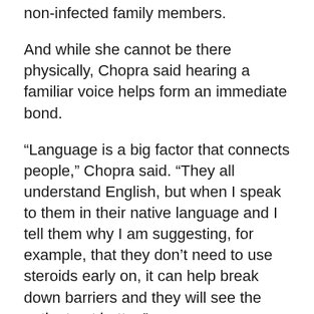non-infected family members.
And while she cannot be there physically, Chopra said hearing a familiar voice helps form an immediate bond.
“Language is a big factor that connects people,” Chopra said. “They all understand English, but when I speak to them in their native language and I tell them why I am suggesting, for example, that they don’t need to use steroids early on, it can help break down barriers and they will see the patient get better.”
But a bigger problem stems from logistical challenges, due to lack of space and multi-generations living under one roof. “I’m an infection control expert,” said Chopra, who also serves as corporate medical director of infection prevention, hospital epidemiology and antibiotic stewardship at Detroit Medical Center and WSU, “and I find it sometimes challenging to advise them on it because